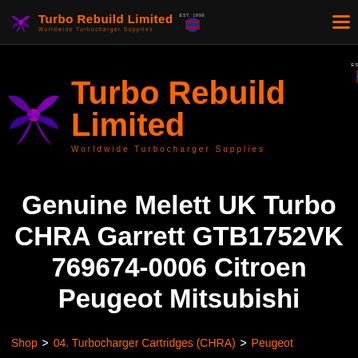Turbo Rebuild Limited — Worldwide Turbocharger Supplies
[Figure (logo): Turbo Rebuild Limited logo with turbine graphic, orange brand name, and EST. 1998 UK badge]
Genuine Melett UK Turbo CHRA Garrett GTB1752VK 769674-0006 Citroen Peugeot Mitsubishi
Shop > 04. Turbocharger Cartridges (CHRA) > Peugeot